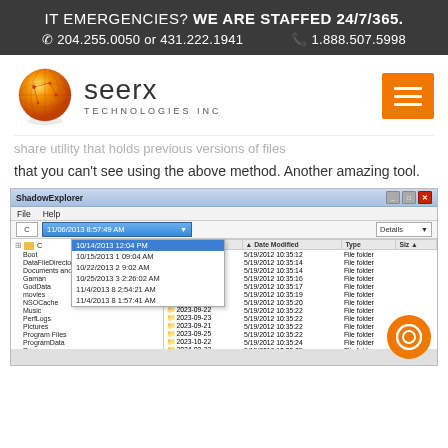IT EMERGENCIES? WE ARE STAFFED 24/7/365. ☎ 204.255.0050 or 431.222.1941  🖨 1.888.507.5998
[Figure (logo): Seerx Technologies Inc logo with orange globe and company name, plus orange hamburger menu button]
...share utility that holds previous versions of files that you can't see using the above method. Another amazing tool.
[Figure (screenshot): Screenshot of ShadowExplorer application window showing file system explorer with date dropdown listing dates in October-November 2013, left pane showing folder tree, right pane showing folders with dates and types]